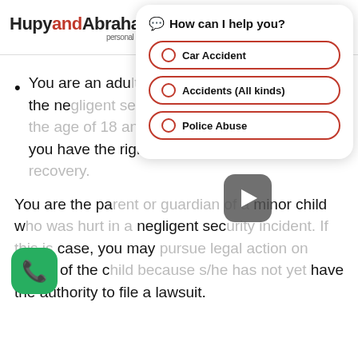Hupy and Abraham s.c. personal injury lawyers
[Figure (screenshot): Chat popup with header 'How can I help you?' and options: Car Accident, Accidents (All kinds), Police Abuse]
You are an adult and you were the one hurt in the negligent security incident. If you are over the age of 18 and mentally competent, then you have the right to pursue your own recovery.
You are the parent or guardian of a minor child who was hurt in a negligent security incident. If this is the case, you may pursue legal action on behalf of the child because s/he has not yet have the authority to file a lawsuit.